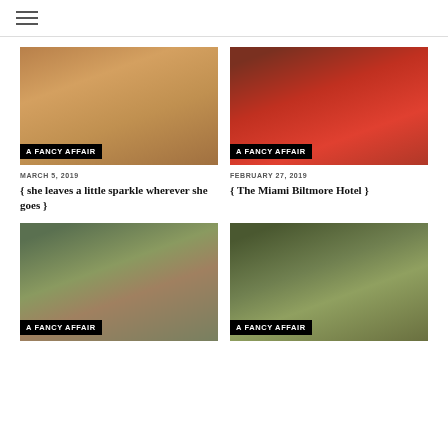☰
[Figure (photo): Woman in pink/mauve dress on ornate staircase with label A FANCY AFFAIR]
MARCH 5, 2019
{ she leaves a little sparkle wherever she goes }
[Figure (photo): Woman in red turtleneck top, close-up portrait with label A FANCY AFFAIR]
FEBRUARY 27, 2019
{ The Miami Biltmore Hotel }
[Figure (photo): Woman in floral skirt and denim jacket outdoors with label A FANCY AFFAIR]
[Figure (photo): Woman in leopard print outfit with tropical background with label A FANCY AFFAIR]